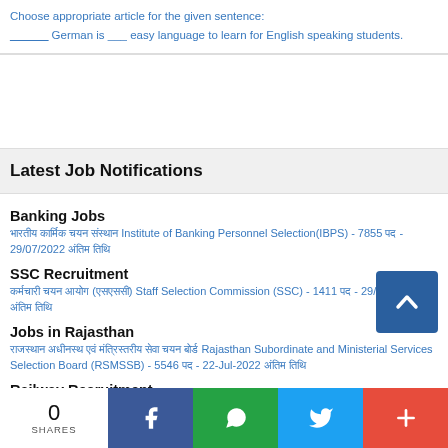Choose appropriate article for the given sentence:
______ German is ___ easy language to learn for English speaking students.
Latest Job Notifications
Banking Jobs
भारतीय कार्मिक चयन संस्थान Institute of Banking Personnel Selection(IBPS) - 7855 पद - 29/07/2022 अंतिम तिथि
SSC Recruitment
कर्मचारी चयन आयोग (एसएससी) Staff Selection Commission (SSC) - 1411 पद - 29/07/2022 अंतिम तिथि
Jobs in Rajasthan
राजस्थान अधीनस्थ एवं मंत्रिस्तरीय सेवा चयन बोर्ड Rajasthan Subordinate and Ministerial Services Selection Board (RSMSSB) - 5546 पद - 22-Jul-2022 अंतिम तिथि
Railway Recruitment
नॉर्थ सेंट्रल रेलवे भर्ती सेल Railway Recruitment Cell(NCR) - 01/08/2022 अंतिम तिथि
Jobs in West Bengal
0
SHARES